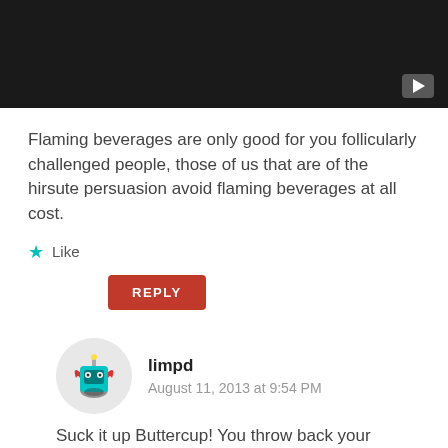[Figure (screenshot): Dark video player bar with a play button in the bottom right corner]
Flaming beverages are only good for you follicularly challenged people, those of us that are of the hirsute persuasion avoid flaming beverages at all cost.
Like
REPLY
[Figure (illustration): Circular avatar of limpd user showing a cartoon teal robot character with red flames]
limpd
August 11, 2013 at 9:54 PM
Suck it up Buttercup! You throw back your flaming beverage and then stop, drop and roll!
Like